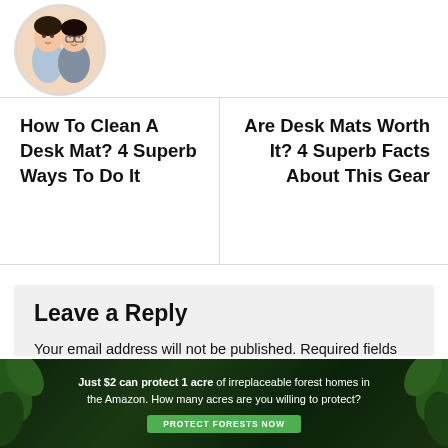[Figure (illustration): Circular avatar illustration showing two cartoon people, one with short hair and one with glasses]
How To Clean A Desk Mat? 4 Superb Ways To Do It
Are Desk Mats Worth It? 4 Superb Facts About This Gear
Leave a Reply
Your email address will not be published. Required fields are marked *
Comment
[Figure (infographic): Green forest background advertisement banner reading: Just $2 can protect 1 acre of irreplaceable forest homes in the Amazon. How many acres are you willing to protect? PROTECT FORESTS NOW button]